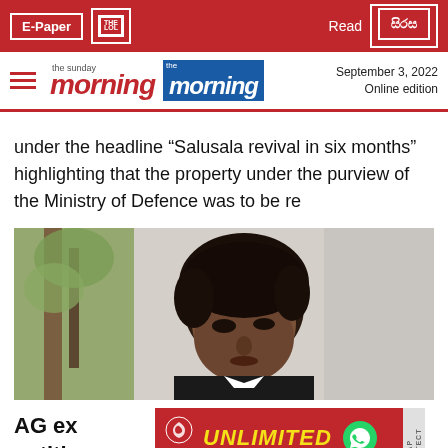E-Paper | Read | the sunday morning | the morning | September 3, 2022 | Online edition
under the headline “Salusala revival in six months” highlighting that the property under the purview of the Ministry of Defence was to be re
[Figure (photo): Portrait photo of a dark-haired man in a suit against a light background with trees/branches visible]
AG ex... n FR petiti...